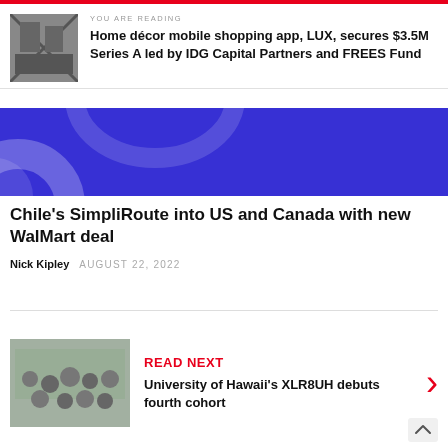YOU ARE READING
Home décor mobile shopping app, LUX, secures $3.5M Series A led by IDG Capital Partners and FREES Fund
[Figure (illustration): Blue/purple banner with decorative arc shapes]
Chile's SimpliRoute into US and Canada with new WalMart deal
Nick Kipley  AUGUST 22, 2022
READ NEXT
University of Hawaii's XLR8UH debuts fourth cohort